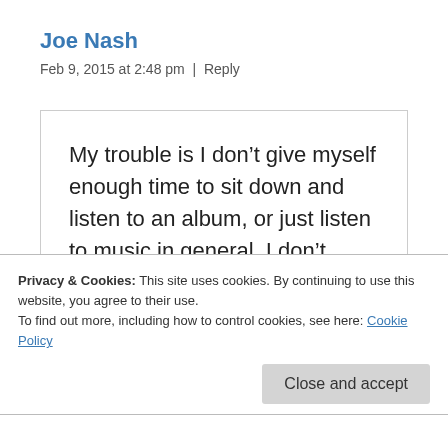Joe Nash
Feb 9, 2015 at 2:48 pm  |  Reply
My trouble is I don't give myself enough time to sit down and listen to an album, or just listen to music in general. I don't know if that is the general reason for the trend towards
Privacy & Cookies: This site uses cookies. By continuing to use this website, you agree to their use.
To find out more, including how to control cookies, see here: Cookie Policy
(which is quite rare), an Apple TV with Denon AVR-2112 receiver...